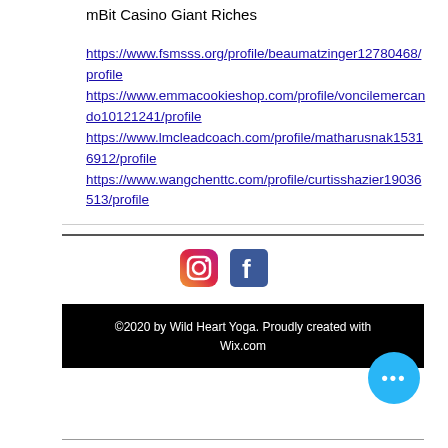mBit Casino Giant Riches
https://www.fsmsss.org/profile/beaumatzinger12780468/profile
https://www.emmacookieshop.com/profile/voncilemercando10121241/profile
https://www.lmcleadcoach.com/profile/matharusnak15316912/profile
https://www.wangchenttc.com/profile/curtisshazier19036513/profile
[Figure (logo): Instagram and Facebook social media icons]
©2020 by Wild Heart Yoga. Proudly created with Wix.com